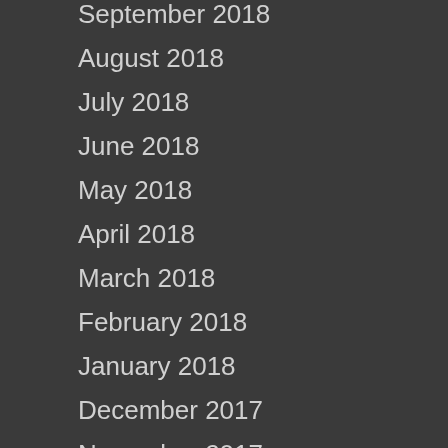September 2018
August 2018
July 2018
June 2018
May 2018
April 2018
March 2018
February 2018
January 2018
December 2017
November 2017
September 2017
August 2017
July 2017
June 2017
May 2017
April 2017